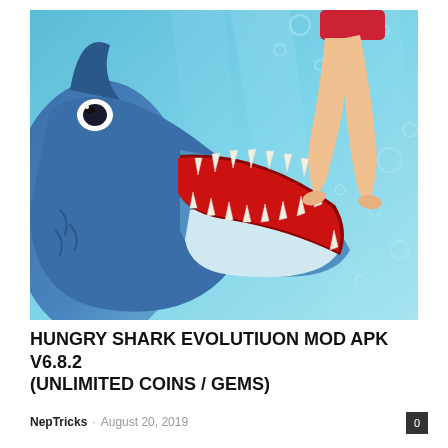[Figure (illustration): Illustrated game artwork showing a large shark with open jaws full of sharp teeth lunging at a swimmer's legs in a bikini, underwater scene with blue water, bubbles, and light rays]
HUNGRY SHARK EVOLUTIUON MOD APK V6.8.2 (UNLIMITED COINS / GEMS)
NepTricks · August 20, 2019